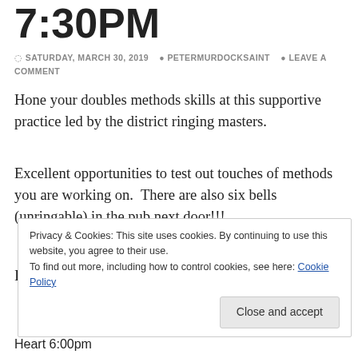7:30PM
SATURDAY, MARCH 30, 2019   PETERMURDOCKSAINT   LEAVE A COMMENT
Hone your doubles methods skills at this supportive practice led by the district ringing masters.
Excellent opportunities to test out touches of methods you are working on.  There are also six bells (unringable) in the pub next door!!!
If anything, go to see the ringing chamber light fitting!
Privacy & Cookies: This site uses cookies. By continuing to use this website, you agree to their use.
To find out more, including how to control cookies, see here: Cookie Policy
Close and accept
Heart 6:00pm